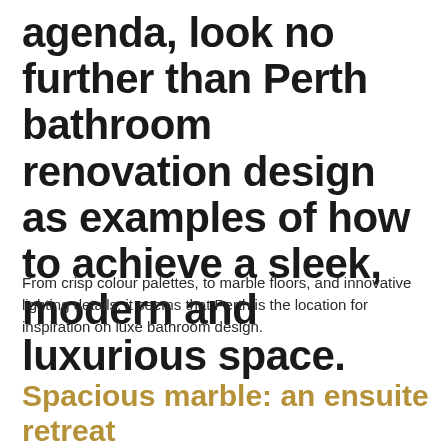agenda, look no further than Perth bathroom renovation design as examples of how to achieve a sleek, modern and luxurious space.
From crisp colour palettes, to marble floors, and innovative lighting details, it seems that Perth is the location for inspiration on luxe bathroom design.
Spacious marble: an ensuite retreat